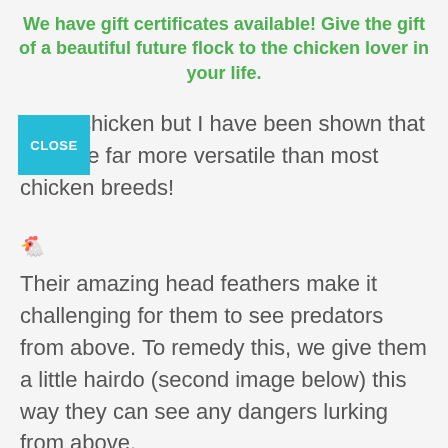We have gift certificates available! Give the gift of a beautiful future flock to the chicken lover in your life.
CLOSE
…ner chicken but I have been shown that they are far more versatile than most chicken breeds!
🐓
Their amazing head feathers make it challenging for them to see predators from above. To remedy this, we give them a little hairdo (second image below) this way they can see any dangers lurking from above.